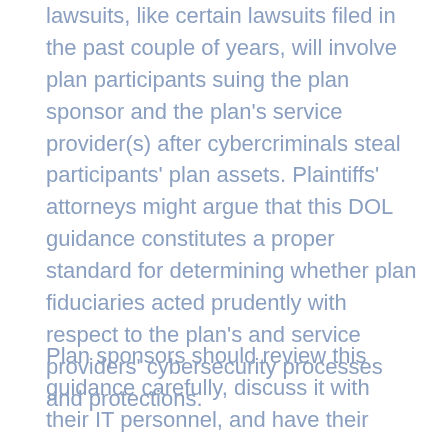lawsuits, like certain lawsuits filed in the past couple of years, will involve plan participants suing the plan sponsor and the plan's service provider(s) after cybercriminals steal participants' plan assets. Plaintiffs' attorneys might argue that this DOL guidance constitutes a proper standard for determining whether plan fiduciaries acted prudently with respect to the plan's and service providers' cybersecurity processes and protections.
Plan sponsors should review this guidance carefully, discuss it with their IT personnel, and have their